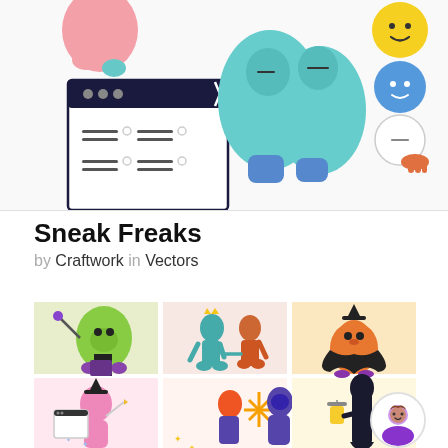[Figure (illustration): Top banner showing colorful cartoon characters: a pink blob character at a UI window/list interface, two teal blob figures sitting together, and a stack of emoji-face circles with a cursor hand pointing at the bottom one.]
Sneak Freaks
by Craftwork in Vectors
[Figure (illustration): 3x2 grid of Halloween-themed vector illustrations: (1) green goblin wizard on lime background, (2) two figures greeting each other on pink background, (3) witch cat character on peach background, (4) pink witch with presentation board on lavender background, (5) two masked characters on light red background, (6) grim reaper with lantern on yellow background. Avatar circle in bottom right corner.]